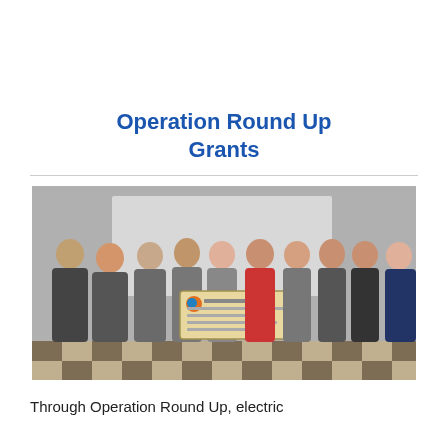Operation Round Up Grants
[Figure (photo): Group of people standing together holding a large ceremonial check, in a banquet or event hall with checkered floor.]
Through Operation Round Up, electric